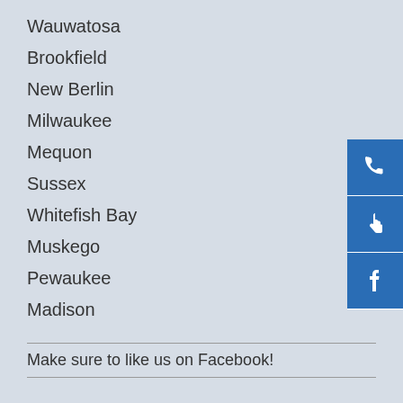Wauwatosa
Brookfield
New Berlin
Milwaukee
Mequon
Sussex
Whitefish Bay
Muskego
Pewaukee
Madison
[Figure (infographic): Three blue square icon buttons on right side: phone icon, pointing hand/cursor icon, and Facebook icon]
Make sure to like us on Facebook!